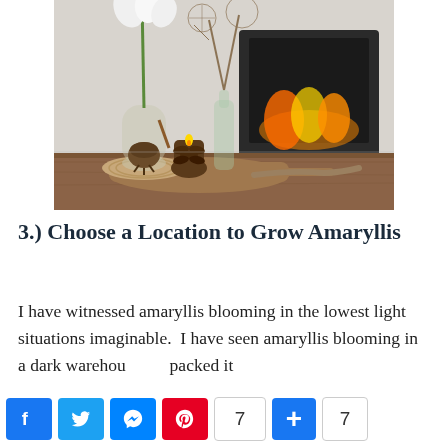[Figure (photo): A cozy indoor scene on a wooden table: a glass vase with an amaryllis bulb and white flowers, a clear bottle vase with dried branches, a pinecone candle holder with lit candle, all on a wooden board and woven mat. A black wood-burning fireplace glows in the background.]
3.) Choose a Location to Grow Amaryllis
I have witnessed amaryllis blooming in the lowest light situations imaginable.  I have seen amaryllis blooming in a dark warehou          packed it